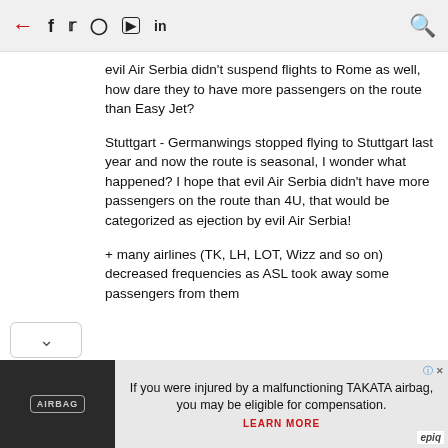← f [twitter] [instagram] [youtube] in [search]
evil Air Serbia didn't suspend flights to Rome as well, how dare they to have more passengers on the route than Easy Jet?
Stuttgart - Germanwings stopped flying to Stuttgart last year and now the route is seasonal, I wonder what happened? I hope that evil Air Serbia didn't have more passengers on the route than 4U, that would be categorized as ejection by evil Air Serbia!
+ many airlines (TK, LH, LOT, Wizz and so on) decreased frequencies as ASL took away some passengers from them
[Figure (infographic): Advertisement banner: photo of airbag on dark background on left; text reads 'If you were injured by a malfunctioning TAKATA airbag, you may be eligible for compensation. LEARN MORE' with epiq branding bottom right.]